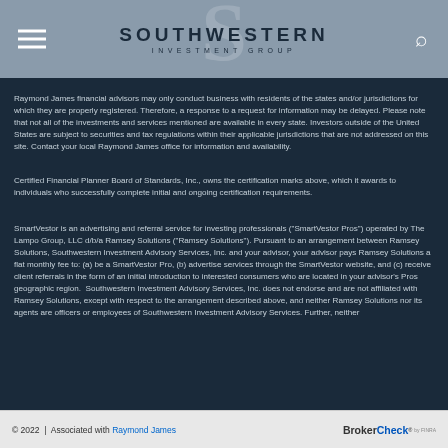SOUTHWESTERN INVESTMENT GROUP
Raymond James financial advisors may only conduct business with residents of the states and/or jurisdictions for which they are properly registered. Therefore, a response to a request for information may be delayed. Please note that not all of the investments and services mentioned are available in every state. Investors outside of the United States are subject to securities and tax regulations within their applicable jurisdictions that are not addressed on this site. Contact your local Raymond James office for information and availability.
Certified Financial Planner Board of Standards, Inc., owns the certification marks above, which it awards to individuals who successfully complete initial and ongoing certification requirements.
SmartVestor is an advertising and referral service for investing professionals ("SmartVestor Pros") operated by The Lampo Group, LLC d/b/a Ramsey Solutions ("Ramsey Solutions"). Pursuant to an arrangement between Ramsey Solutions, Southwestern Investment Advisory Services, Inc. and your advisor, your advisor pays Ramsey Solutions a flat monthly fee to: (a) be a SmartVestor Pro, (b) advertise services through the SmartVestor website, and (c) receive client referrals in the form of an initial introduction to interested consumers who are located in your advisor's Pros geographic region.  Southwestern Investment Advisory Services, Inc. does not endorse and are not affiliated with Ramsey Solutions, except with respect to the arrangement described above, and neither Ramsey Solutions nor its agents are officers or employees of Southwestern Investment Advisory Services. Further, neither
© 2022 | Associated with Raymond James  BrokerCheck® by FINRA